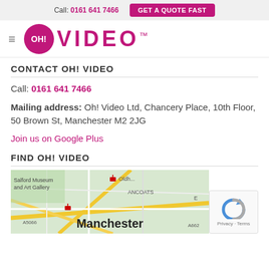Call: 0161 641 7466  GET A QUOTE FAST
[Figure (logo): OH! Video logo with pink circle containing OH! text and VIDEO in large pink letters with TM mark]
CONTACT OH! VIDEO
Call: 0161 641 7466
Mailing address: Oh! Video Ltd, Chancery Place, 10th Floor, 50 Brown St, Manchester M2 2JG
Join us on Google Plus
FIND OH! VIDEO
[Figure (map): Google map showing Manchester area with roads, Salford Museum and Art Gallery, Ancoats label, and Manchester label overlay]